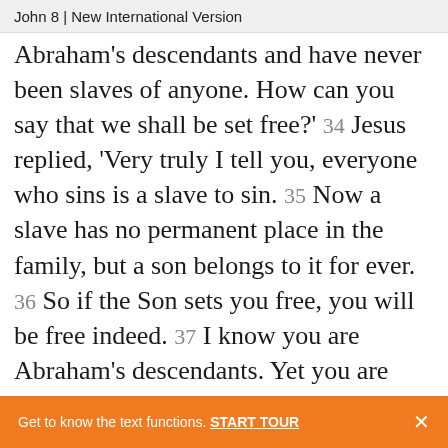John 8 | New International Version
Abraham's descendants and have never been slaves of anyone. How can you say that we shall be set free?' 34 Jesus replied, 'Very truly I tell you, everyone who sins is a slave to sin. 35 Now a slave has no permanent place in the family, but a son belongs to it for ever. 36 So if the Son sets you free, you will be free indeed. 37 I know you are Abraham's descendants. Yet you are looking for a
Get to know the text functions. START TOUR